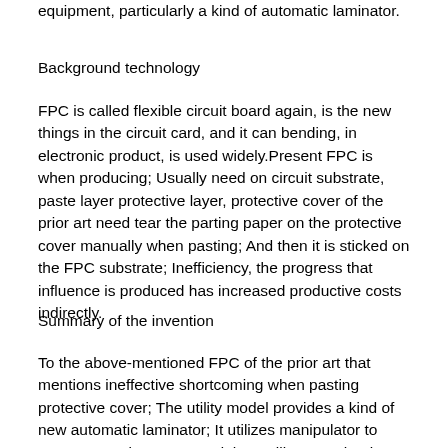equipment, particularly a kind of automatic laminator.
Background technology
FPC is called flexible circuit board again, is the new things in the circuit card, and it can bending, in electronic product, is used widely.Present FPC is when producing; Usually need on circuit substrate, paste layer protective layer, protective cover of the prior art need tear the parting paper on the protective cover manually when pasting; And then it is sticked on the FPC substrate; Inefficiency, the progress that influence is produced has increased productive costs indirectly.
Summary of the invention
To the above-mentioned FPC of the prior art that mentions ineffective shortcoming when pasting protective cover; The utility model provides a kind of new automatic laminator; It utilizes manipulator to grasp protective cover, and then utilizes mechanism for stripping that the parting paper on the protective cover is removed, and then protective cover is sticked on the FPC substrate; Whole process is accomplished automatically, has improved